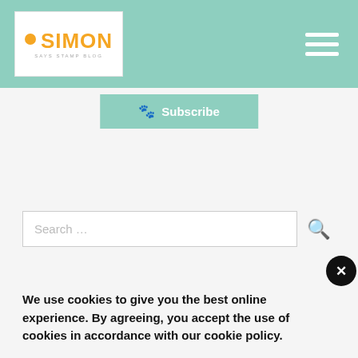Simon Says Stamp Blog — Header with logo and navigation menu
Subscribe
Search …
We use cookies to give you the best online experience. By agreeing, you accept the use of cookies in accordance with our cookie policy.
DECLINE
I ACCEPT
Privacy Policy   Cookie Policy
Take the Challenge!